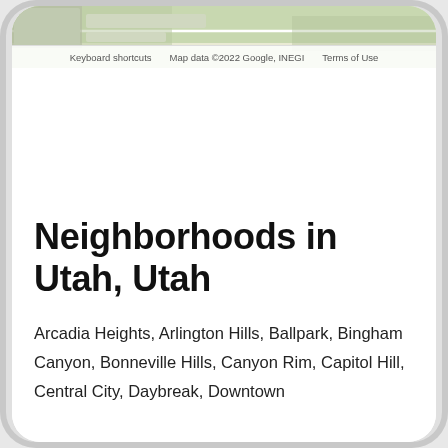[Figure (map): Partial Google Maps view showing a location in Utah with map attribution bar at the bottom showing keyboard shortcuts, map data copyright 2022 Google INEGI, and Terms of Use]
Keyboard shortcuts   Map data ©2022 Google, INEGI   Terms of Use
Neighborhoods in Utah, Utah
Arcadia Heights, Arlington Hills, Ballpark, Bingham Canyon, Bonneville Hills, Canyon Rim, Capitol Hill, Central City, Daybreak, Downtown